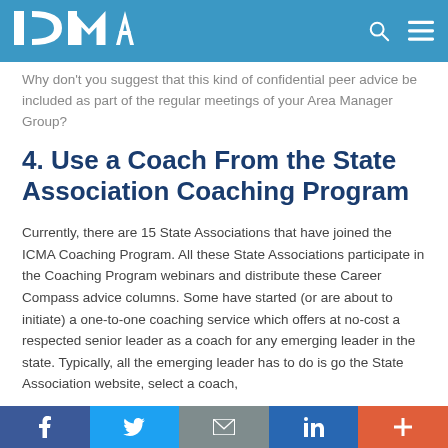ICMA
Why don't you suggest that this kind of confidential peer advice be included as part of the regular meetings of your Area Manager Group?
4. Use a Coach From the State Association Coaching Program
Currently, there are 15 State Associations that have joined the ICMA Coaching Program. All these State Associations participate in the Coaching Program webinars and distribute these Career Compass advice columns. Some have started (or are about to initiate) a one-to-one coaching service which offers at no-cost a respected senior leader as a coach for any emerging leader in the state. Typically, all the emerging leader has to do is go the State Association website, select a coach,
f  🐦  ✉  in  +